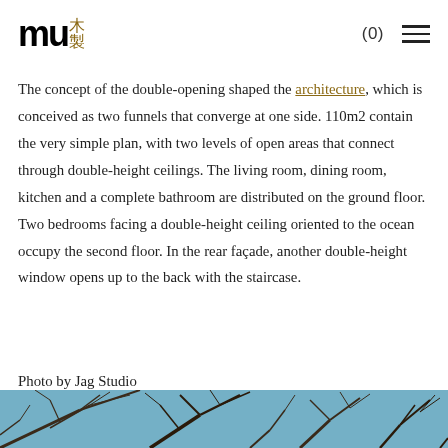mu木製 (0) ☰
The concept of the double-opening shaped the architecture, which is conceived as two funnels that converge at one side. 110m2 contain the very simple plan, with two levels of open areas that connect through double-height ceilings. The living room, dining room, kitchen and a complete bathroom are distributed on the ground floor. Two bedrooms facing a double-height ceiling oriented to the ocean occupy the second floor. In the rear façade, another double-height window opens up to the back with the staircase.
Photo by Jag Studio
[Figure (photo): Bottom portion of a photo showing bare tree branches against a blue sky, with dark branches creating an intricate pattern.]